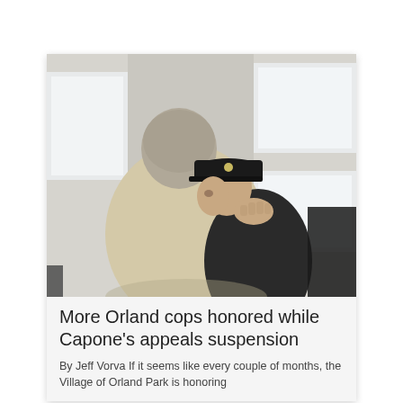[Figure (photo): Two people embracing. One person has a short grey buzzcut and is wearing a beige/tan jacket with their back to the camera. The other person, partially visible, is wearing a black police officer's cap and appears to be resting their head on the first person's shoulder. The background shows a room with large windows letting in bright light.]
More Orland cops honored while Capone's appeals suspension
By Jeff Vorva If it seems like every couple of months, the Village of Orland Park is honoring